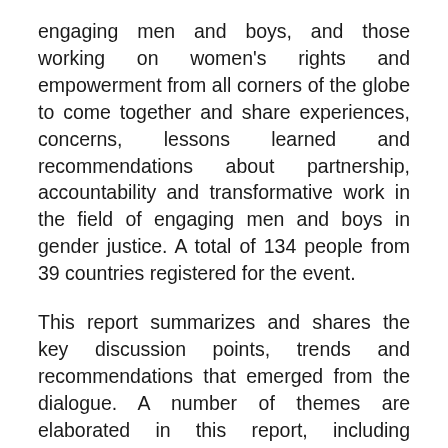engaging men and boys, and those working on women's rights and empowerment from all corners of the globe to come together and share experiences, concerns, lessons learned and recommendations about partnership, accountability and transformative work in the field of engaging men and boys in gender justice. A total of 134 people from 39 countries registered for the event.
This report summarizes and shares the key discussion points, trends and recommendations that emerged from the dialogue. A number of themes are elaborated in this report, including accountability, power, privilege and patriarchy, intersectionality and men's motivations for doing this work. It also explores how this work might become truly gender transformative by challenging structures and politicizing work with men and boys, building partnerships, addressing the question of funding, working both together and independently, working with faith leaders and with boys and young men, improving